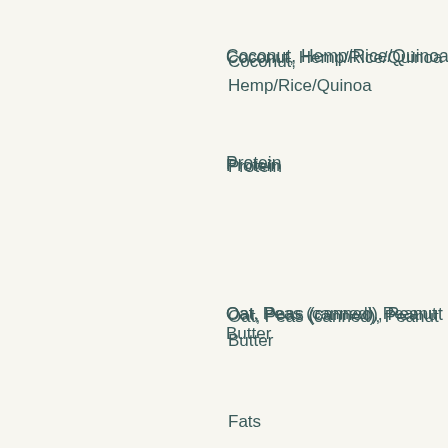Coconut, Hemp/Rice/Quinoa
Protein
Oat, Peas (canned), Peanut Butter
Fats
Coconut oil, Palm Oil
8, best supplements for muscle growth men's health. Drink Water
Water is a complete water source and will help to flush out toxins in the body. It is also a great way to get the right amount of water every day. It is also the best